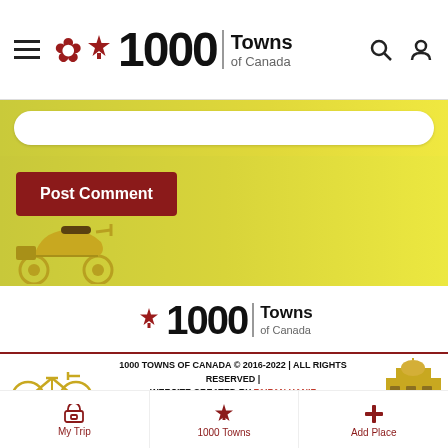[Figure (logo): 1000 Towns of Canada header logo with hamburger menu, maple leaf, search and user icons]
[Figure (screenshot): Yellow-green gradient comment post area with Post Comment button and scooter illustration]
[Figure (logo): 1000 Towns of Canada footer logo with maple leaf]
1000 TOWNS OF CANADA © 2016-2022 | ALL RIGHTS RESERVED | WEBSITE CREATED BY FAIZAN HANIF
[Figure (infographic): Social media icons bar: Facebook, Instagram, Twitter, YouTube, Pinterest, LinkedIn]
[Figure (infographic): Share This bar with chevron and close X]
[Figure (infographic): Bottom navigation: My Trip, 1000 Towns, Add Place]